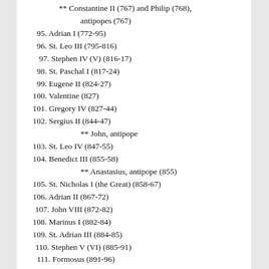** Constantine II (767) and Philip (768), antipopes (767)
95. Adrian I (772-95)
96. St. Leo III (795-816)
97. Stephen IV (V) (816-17)
98. St. Paschal I (817-24)
99. Eugene II (824-27)
100. Valentine (827)
101. Gregory IV (827-44)
102. Sergius II (844-47)
** John, antipope
103. St. Leo IV (847-55)
104. Benedict III (855-58)
** Anastasius, antipope (855)
105. St. Nicholas I (the Great) (858-67)
106. Adrian II (867-72)
107. John VIII (872-82)
108. Marinus I (882-84)
109. St. Adrian III (884-85)
110. Stephen V (VI) (885-91)
111. Formosus (891-96)